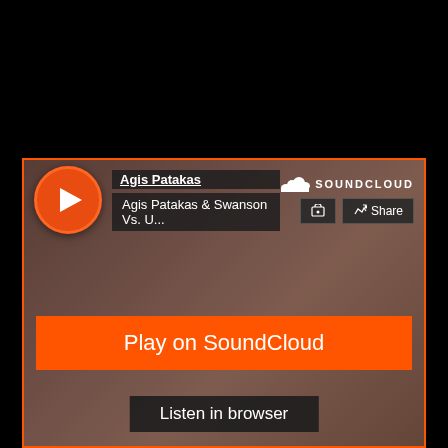[Figure (screenshot): SoundCloud embedded music player widget showing a track by Agis Patakas titled 'Agis Patakas & Swanson Vs. U...' with a play button, SoundCloud logo, share button, artwork background, 'Play on SoundCloud' orange button, and 'Listen in browser' button.]